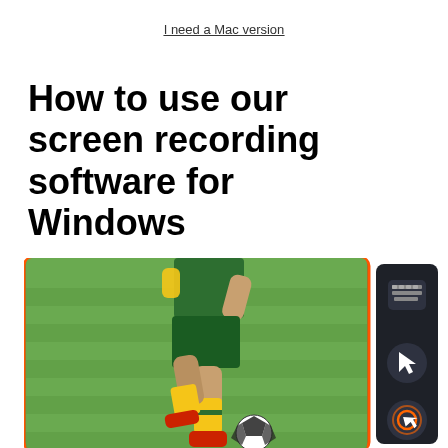I need a Mac version
How to use our screen recording software for Windows
[Figure (screenshot): Screenshot of screen recording software interface showing a soccer player kicking a ball on a green field, with an orange border overlay and a dark sidebar panel containing keyboard, cursor, and click icons]